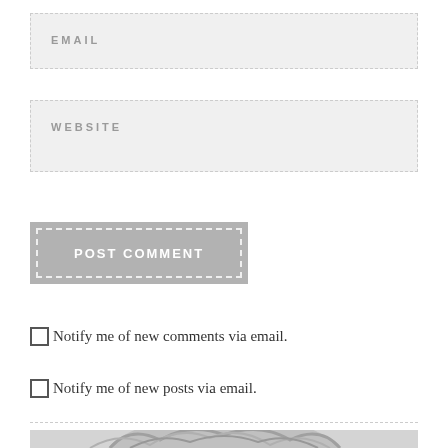EMAIL
WEBSITE
POST COMMENT
Notify me of new comments via email.
Notify me of new posts via email.
[Figure (photo): Black and white photo of a person's head/hair, partially visible at bottom of page]